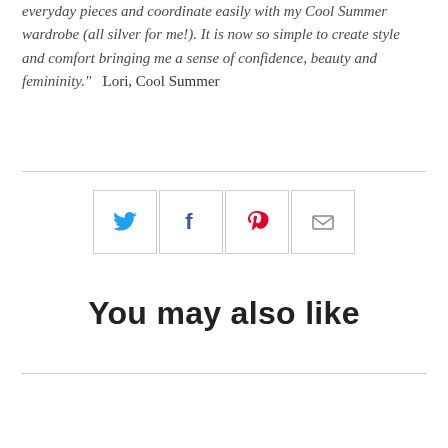everyday pieces and coordinate easily with my Cool Summer wardrobe (all silver for me!). It is now so simple to create style and comfort bringing me a sense of confidence, beauty and femininity."   Lori, Cool Summer
[Figure (infographic): Four social sharing icon buttons in a row: Twitter (blue bird), Facebook (f), Pinterest (red P), and Email (envelope)]
You may also like